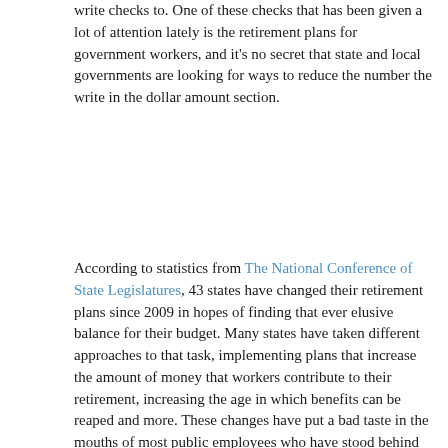write checks to.  One of these checks that has been given a lot of attention lately is the retirement plans for government workers, and it's no secret that state and local governments are looking for ways to reduce the number the write in the dollar amount section.
According to statistics from The National Conference of State Legislatures, 43 states have changed their retirement plans since 2009 in hopes of finding that ever elusive balance for their budget.  Many states have taken different approaches to that task, implementing plans that increase the amount of money that workers contribute to their retirement, increasing the age in which benefits can be reaped and more.  These changes have put a bad taste in the mouths of most public employees who have stood behind the shield of laws that protect their pensions as these battles continue to fill our courtrooms with various appeals and challenges.
It's a messy issue that is causing upheaval in nearly every state, flooding local news outlets with protests, sit ins and even a Governor's recall election or two.  Like any heavily